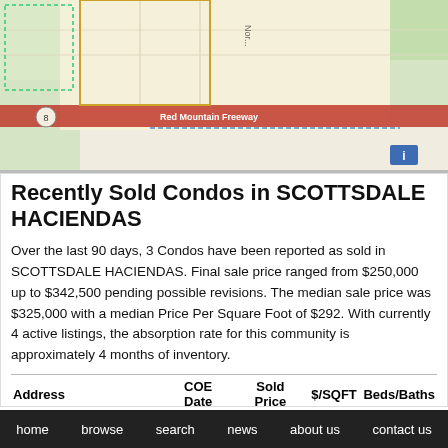[Figure (map): Street map showing AZ 101 Loop, Pima Freeway, Red Mountain Freeway, Salt River intersection area near Scottsdale Haciendas]
Recently Sold Condos in SCOTTSDALE HACIENDAS
Over the last 90 days, 3 Condos have been reported as sold in SCOTTSDALE HACIENDAS. Final sale price ranged from $250,000 up to $342,500 pending possible revisions. The median sale price was $325,000 with a median Price Per Square Foot of $292. With currently 4 active listings, the absorption rate for this community is approximately 4 months of inventory.
| Address | COE Date | Sold Price | $/SQFT | Beds/Baths |
| --- | --- | --- | --- | --- |
home   browse   search   news   about us   contact us